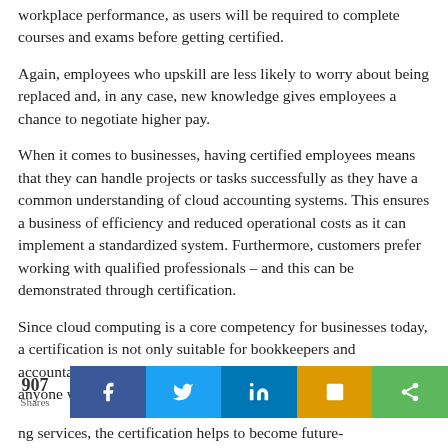workplace performance, as users will be required to complete courses and exams before getting certified.
Again, employees who upskill are less likely to worry about being replaced and, in any case, new knowledge gives employees a chance to negotiate higher pay.
When it comes to businesses, having certified employees means that they can handle projects or tasks successfully as they have a common understanding of cloud accounting systems. This ensures a business of efficiency and reduced operational costs as it can implement a standardized system. Furthermore, customers prefer working with qualified professionals – and this can be demonstrated through certification.
Since cloud computing is a core competency for businesses today, a certification is not only suitable for bookkeepers and accountants, but also for business owners, managers, CFOs and anyone who will be using cloud accounting solutions.
907 Shares
ng services, the certification helps to become future-